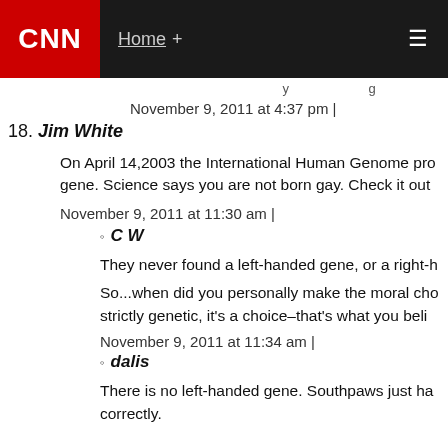CNN — Home +
November 9, 2011 at 4:37 pm |
18. Jim White
On April 14,2003 the International Human Genome pro... gene. Science says you are not born gay. Check it out...
November 9, 2011 at 11:30 am |
C W
They never found a left-handed gene, or a right-h...
So...when did you personally make the moral cho... strictly genetic, it's a choice–that's what you beli...
November 9, 2011 at 11:34 am |
dalis
There is no left-handed gene. Southpaws just ha... correctly.